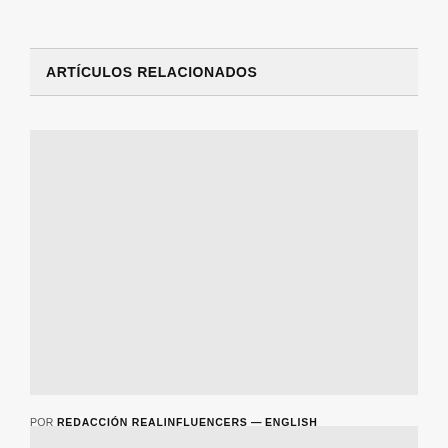ARTÍCULOS RELACIONADOS
[Figure (photo): Blank/placeholder image area for a related article thumbnail]
POR REDACCIÓN REALINFLUENCERS — ENGLISH
⊙ 2 MINS LECTURA